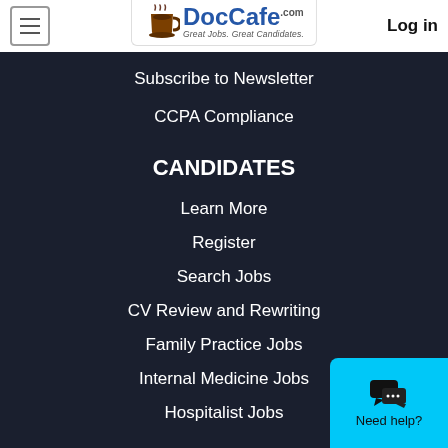DocCafe.com — Great Jobs. Great Candidates. | Log in
Subscribe to Newsletter
CCPA Compliance
CANDIDATES
Learn More
Register
Search Jobs
CV Review and Rewriting
Family Practice Jobs
Internal Medicine Jobs
Hospitalist Jobs